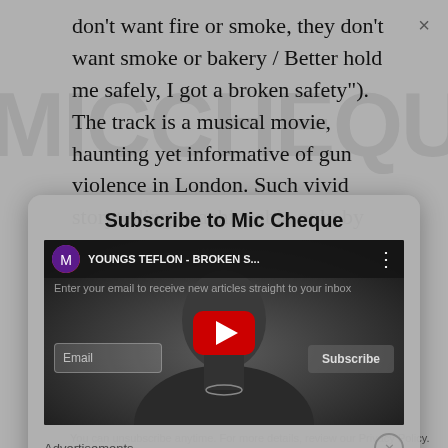don't want fire or smoke, they don't want smoke or bakery / Better hold me safely, I got a broken safety"). The track is a musical movie, haunting yet informative of gun violence in London. Such vivid storytelling is achievable only by the finest of rappers in the Kingdom.
[Figure (screenshot): YouTube video embed showing 'YOUNGS TEFLON - BROKEN S...' with Subscribe to Mic Cheque modal overlay including email subscription field and Subscribe button. Advertisements bar at bottom with close button.]
You can unsubscribe anytime. For more details, review our Privacy Policy.